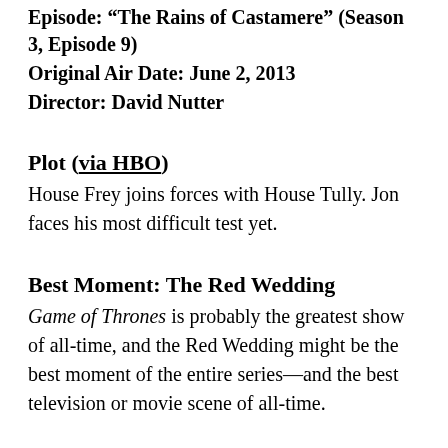Episode: "The Rains of Castamere" (Season 3, Episode 9)
Original Air Date: June 2, 2013
Director: David Nutter
Plot (via HBO)
House Frey joins forces with House Tully. Jon faces his most difficult test yet.
Best Moment: The Red Wedding
Game of Thrones is probably the greatest show of all-time, and the Red Wedding might be the best moment of the entire series—and the best television or movie scene of all-time.